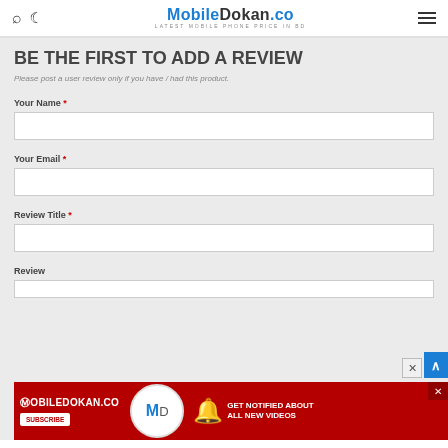MobileDokan.co – LATEST MOBILE PHONE PRICE IN BD
BE THE FIRST TO ADD A REVIEW
Please post a user review only if you have / had this product.
Your Name *
Your Email *
Review Title *
Review
[Figure (screenshot): MobileDokan.co YouTube subscribe ad banner at bottom of page]